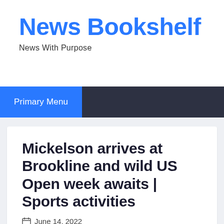News Bookshelf
News With Purpose
Primary Menu
Mickelson arrives at Brookline and wild US Open week awaits | Sports activities
June 14, 2022